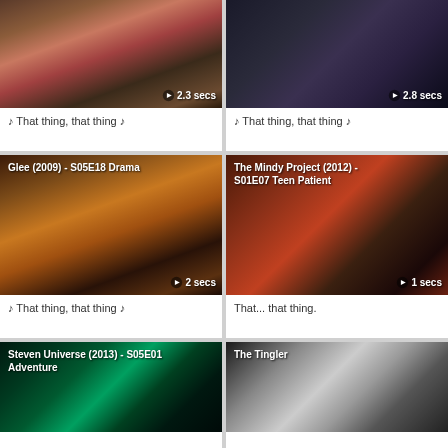[Figure (screenshot): Video thumbnail - dancing scene, warm indoor tones, ▶2.3 secs]
♪ That thing, that thing ♪
[Figure (screenshot): Video thumbnail - dark scene with person dancing, ▶2.8 secs]
♪ That thing, that thing ♪
[Figure (screenshot): Glee (2009) - S05E18 Drama - woman singing on stage, ▶2 secs]
♪ That thing, that thing ♪
[Figure (screenshot): The Mindy Project (2012) - S01E07 Teen Patient - girl with glasses, ▶1 secs]
That... that thing.
[Figure (screenshot): Steven Universe (2013) - S05E01 Adventure - teal/green fantasy scene]
[Figure (screenshot): The Tingler - black and white scene with people at table]